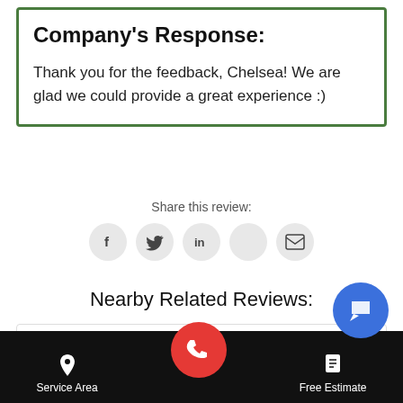Company's Response:
Thank you for the feedback, Chelsea! We are glad we could provide a great experience :)
Share this review:
[Figure (infographic): Social share icons: Facebook (f), Twitter (bird), LinkedIn (in), and an unnamed icon, and Email (envelope)]
Nearby Related Reviews:
Review from Lisa in Wyandotte, MI
[Figure (infographic): Bottom navigation bar with Service Area (pin icon), red phone call button, Free Estimate (document icon), and a blue chat/flag button]
Service Area   Free Estimate